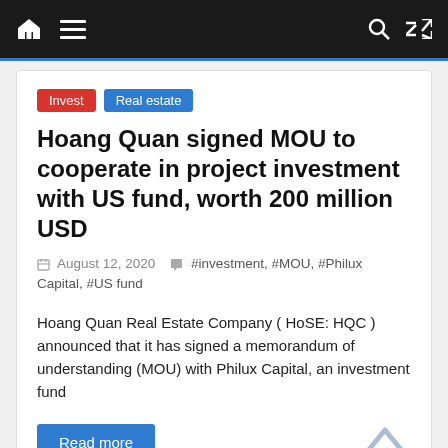Navigation bar with home, menu, search, and shuffle icons
Invest | Real estate
Hoang Quan signed MOU to cooperate in project investment with US fund, worth 200 million USD
August 12, 2020   #investment, #MOU, #Philux Capital, #US fund
Hoang Quan Real Estate Company ( HoSE: HQC ) announced that it has signed a memorandum of understanding (MOU) with Philux Capital, an investment fund
Read more